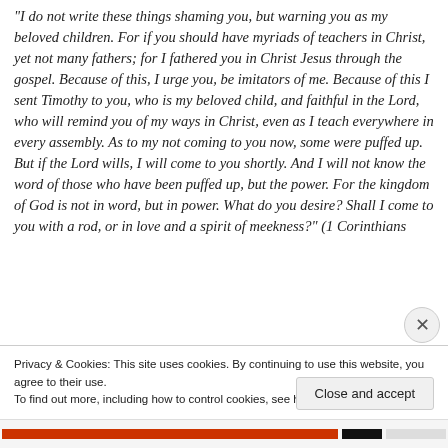"I do not write these things shaming you, but warning you as my beloved children. For if you should have myriads of teachers in Christ, yet not many fathers; for I fathered you in Christ Jesus through the gospel. Because of this, I urge you, be imitators of me. Because of this I sent Timothy to you, who is my beloved child, and faithful in the Lord, who will remind you of my ways in Christ, even as I teach everywhere in every assembly. As to my not coming to you now, some were puffed up. But if the Lord wills, I will come to you shortly. And I will not know the word of those who have been puffed up, but the power. For the kingdom of God is not in word, but in power. What do you desire? Shall I come to you with a rod, or in love and a spirit of meekness?" (1 Corinthians
Privacy & Cookies: This site uses cookies. By continuing to use this website, you agree to their use.
To find out more, including how to control cookies, see here: Cookie Policy
Close and accept